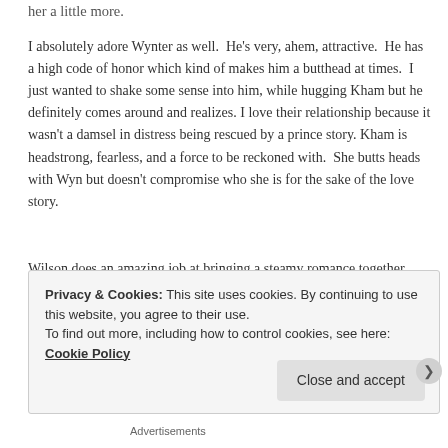her a little more.
I absolutely adore Wynter as well.  He's very, ahem, attractive.  He has a high code of honor which kind of makes him a butthead at times.  I just wanted to shake some sense into him, while hugging Kham but he definitely comes around and realizes. I love their relationship because it wasn't a damsel in distress being rescued by a prince story. Kham is headstrong, fearless, and a force to be reckoned with.  She butts heads with Wyn but doesn't compromise who she is for the sake of the love story.
Wilson does an amazing job at bringing a steamy romance together with a great storyline to produce a sexy story of two warriors finding each other. I'm anxiously awaiting the second installment of the
Privacy & Cookies: This site uses cookies. By continuing to use this website, you agree to their use.
To find out more, including how to control cookies, see here: Cookie Policy
Close and accept
Advertisements